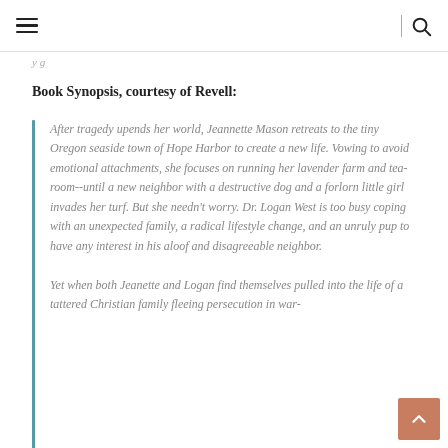≡  |  🔍
y g
Book Synopsis, courtesy of Revell:
After tragedy upends her world, Jeannette Mason retreats to the tiny Oregon seaside town of Hope Harbor to create a new life. Vowing to avoid emotional attachments, she focuses on running her lavender farm and tea-room--until a new neighbor with a destructive dog and a forlorn little girl invades her turf. But she needn't worry. Dr. Logan West is too busy coping with an unexpected family, a radical lifestyle change, and an unruly pup to have any interest in his aloof and disagreeable neighbor.
Yet when both Jeanette and Logan find themselves pulled into the life of a tattered Christian family fleeing persecution in war-